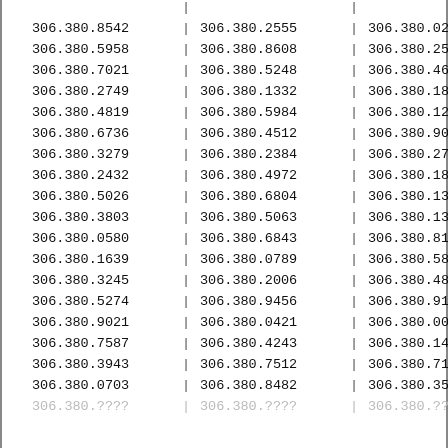| col1 | col2 | col3 |
| --- | --- | --- |
| 306.380.8542 | 306.380.2555 | 306.380.0234 |
| 306.380.5958 | 306.380.8608 | 306.380.2501 |
| 306.380.7021 | 306.380.5248 | 306.380.4687 |
| 306.380.2749 | 306.380.1332 | 306.380.1881 |
| 306.380.4819 | 306.380.5984 | 306.380.1285 |
| 306.380.6736 | 306.380.4512 | 306.380.9002 |
| 306.380.3279 | 306.380.2384 | 306.380.2704 |
| 306.380.2432 | 306.380.4972 | 306.380.1895 |
| 306.380.5026 | 306.380.6804 | 306.380.1391 |
| 306.380.3803 | 306.380.5063 | 306.380.1380 |
| 306.380.0580 | 306.380.6843 | 306.380.8178 |
| 306.380.1639 | 306.380.0789 | 306.380.5808 |
| 306.380.3245 | 306.380.2006 | 306.380.4881 |
| 306.380.5274 | 306.380.9456 | 306.380.9174 |
| 306.380.9021 | 306.380.0421 | 306.380.0081 |
| 306.380.7587 | 306.380.4243 | 306.380.1404 |
| 306.380.3943 | 306.380.7512 | 306.380.7193 |
| 306.380.0703 | 306.380.8482 | 306.380.3598 |
| 306.380.???? | 306.380.???? | 306.380.???? |